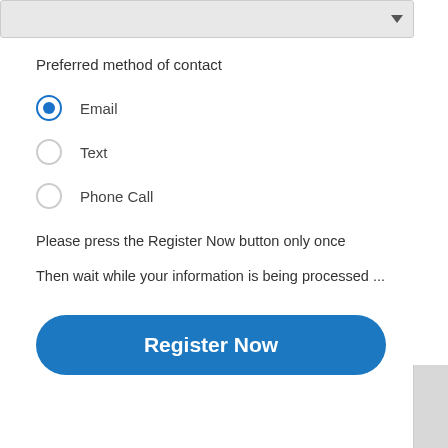[Figure (screenshot): Dropdown input field with arrow indicator at top of page]
Preferred method of contact
Email (selected radio button)
Text (unselected radio button)
Phone Call (unselected radio button)
Please press the Register Now button only once
Then wait while your information is being processed ...
[Figure (screenshot): Register Now button — blue rounded rectangle]